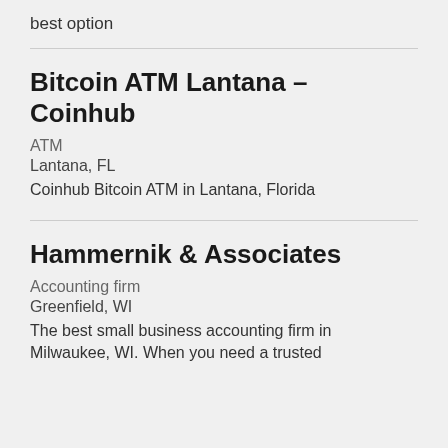best option
Bitcoin ATM Lantana – Coinhub
ATM
Lantana, FL
Coinhub Bitcoin ATM in Lantana, Florida
Hammernik & Associates
Accounting firm
Greenfield, WI
The best small business accounting firm in Milwaukee, WI. When you need a trusted